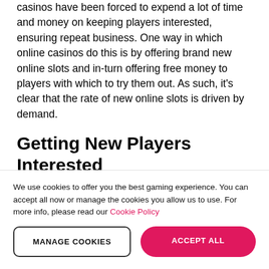casinos have been forced to expend a lot of time and money on keeping players interested, ensuring repeat business. One way in which online casinos do this is by offering brand new online slots and in-turn offering free money to players with which to try them out. As such, it's clear that the rate of new online slots is driven by demand.
Getting New Players Interested
New customers are the bread and butter of any online casino and online casinos hoping to cement themselves amongst the giants of the industry have to be constantly innovative in the ways in which they
We use cookies to offer you the best gaming experience. You can accept all now or manage the cookies you allow us to use. For more info, please read our Cookie Policy